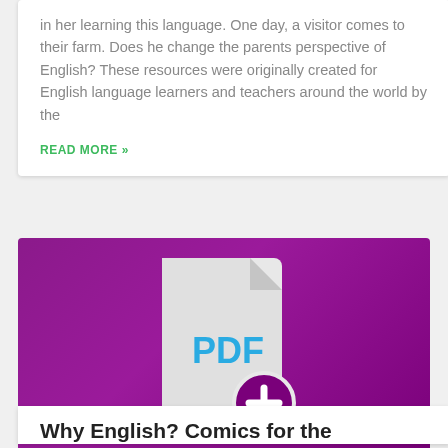in her learning this language. One day, a visitor comes to their farm. Does he change the parents perspective of English? These resources were originally created for English language learners and teachers around the world by the
READ MORE »
[Figure (illustration): Purple/magenta background with a white document/file icon showing 'PDF' text in blue, and a circular add/plus button overlay in purple and white at the bottom right of the document icon]
Why English? Comics for the